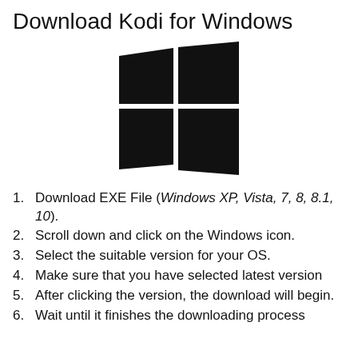Download Kodi for Windows
[Figure (logo): Windows logo: four black squares arranged in a 2x2 grid with perspective, forming the Windows operating system logo.]
Download EXE File (Windows XP, Vista, 7, 8, 8.1, 10).
Scroll down and click on the Windows icon.
Select the suitable version for your OS.
Make sure that you have selected latest version
After clicking the version, the download will begin.
Wait until it finishes the downloading process